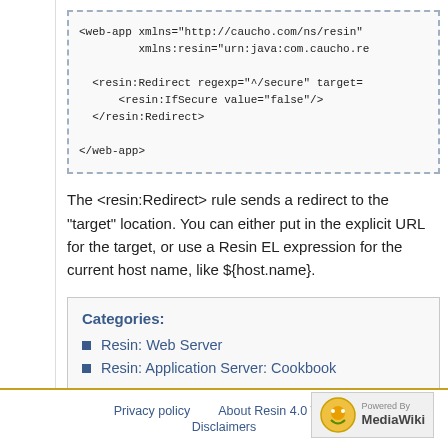[Figure (screenshot): Code block with dashed border showing XML configuration: <web-app xmlns="http://caucho.com/ns/resin" xmlns:resin="urn:java:com.caucho.re..."> <resin:Redirect regexp="^/secure" target=...> <resin:IfSecure value="false"/> </resin:Redirect> </web-app>]
The <resin:Redirect> rule sends a redirect to the "target" location. You can either put in the explicit URL for the target, or use a Resin EL expression for the current host name, like ${host.name}.
Categories:
Resin: Web Server
Resin: Application Server: Cookbook
Privacy policy   About Resin 4.0 Wiki   Disclaimers   Powered By MediaWiki